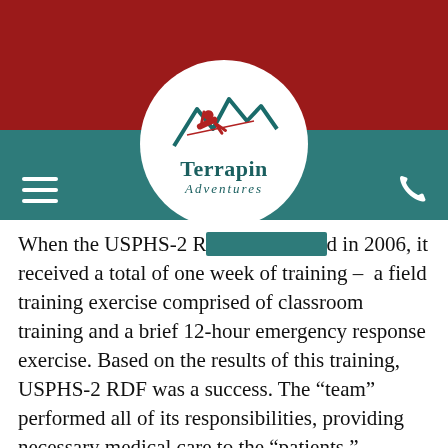[Figure (logo): Terrapin Adventures logo: teal mountain peaks with red figure zip-lining, text 'Terrapin Adventures' in teal serif font, inside white circle on red and teal header navigation bar]
When the USPHS-2 RD[F was formed] in 2006, it received a total of one week of training – a field training exercise comprised of classroom training and a brief 12-hour emergency response exercise. Based on the results of this training, USPHS-2 RDF was a success. The “team” performed all of its responsibilities, providing necessary medical care to the “patients.” However, USPHS-2 RDF quickly realized that they needed more than just a crash course in team building. So the group took it upon themselves to develop a team building culture to not only increase morale, boost productivity, and enable better communication, but to also help ease transition. You see,